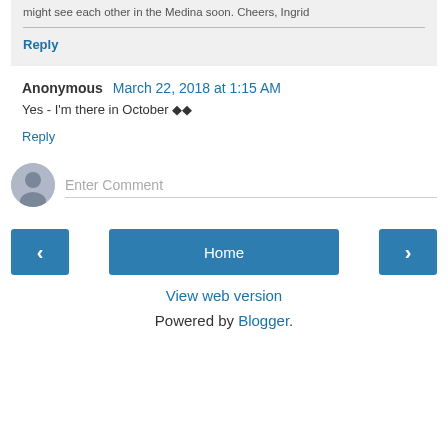might see each other in the Medina soon. Cheers, Ingrid
Reply
Anonymous  March 22, 2018 at 1:15 AM
Yes - I'm there in October ◆◆
Reply
Enter Comment
Home
View web version
Powered by Blogger.